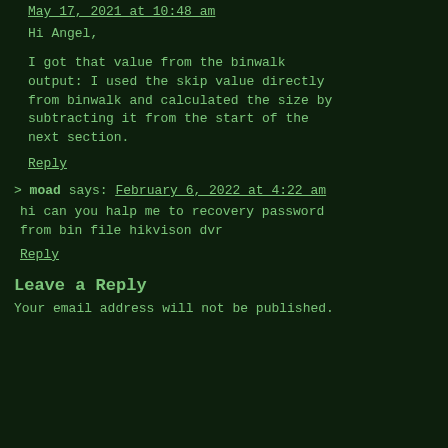May 17, 2021 at 10:48 am
Hi Angel,
I got that value from the binwalk output: I used the skip value directly from binwalk and calculated the size by subtracting it from the start of the next section.
Reply
> moad says: February 6, 2022 at 4:22 am
hi can you halp me to recovery password from bin file hikvison dvr
Reply
Leave a Reply
Your email address will not be published.